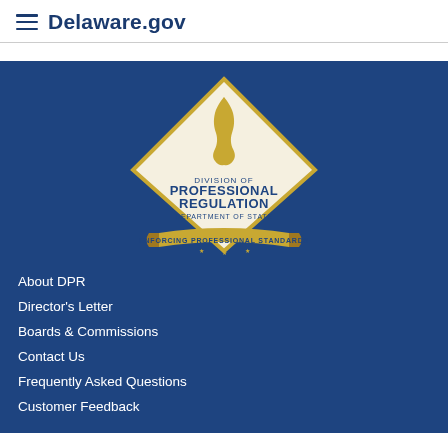Delaware.gov
[Figure (logo): Division of Professional Regulation, Department of State — Enforcing Professional Standards seal/logo on dark blue background]
About DPR
Director's Letter
Boards & Commissions
Contact Us
Frequently Asked Questions
Customer Feedback